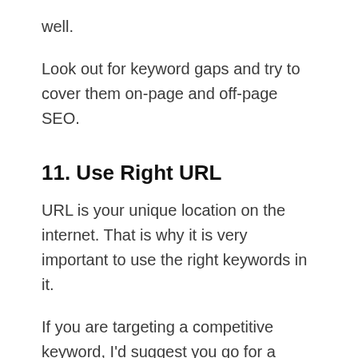well.
Look out for keyword gaps and try to cover them on-page and off-page SEO.
11. Use Right URL
URL is your unique location on the internet. That is why it is very important to use the right keywords in it.
If you are targeting a competitive keyword, I'd suggest you go for a long-tail keyword in the